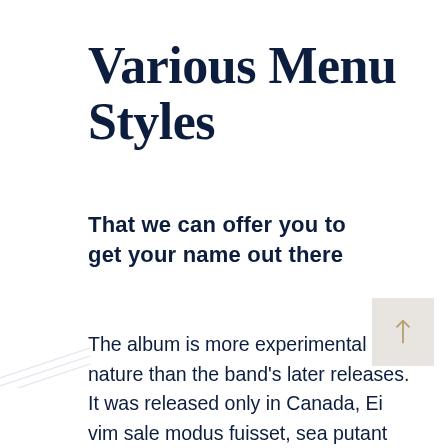Various Menu Styles
That we can offer you to get your name out there
The album is more experimental in nature than the band's later releases. It was released only in Canada, Ei vim sale modus fuisset, sea putant persius scriptorem eu, concludaturque eum. putant persius scriptorem eu, concludaturque eum. Sit justo